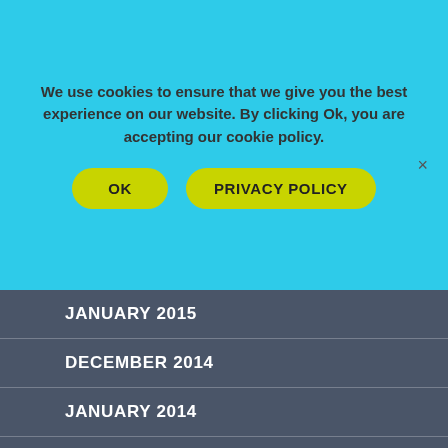We use cookies to ensure that we give you the best experience on our website. By clicking Ok, you are accepting our cookie policy.
OK
PRIVACY POLICY
JANUARY 2015
DECEMBER 2014
JANUARY 2014
DECEMBER 2013
OCTOBER 2013
SEPTEMBER 2013
AUGUST 2013
JULY 2013